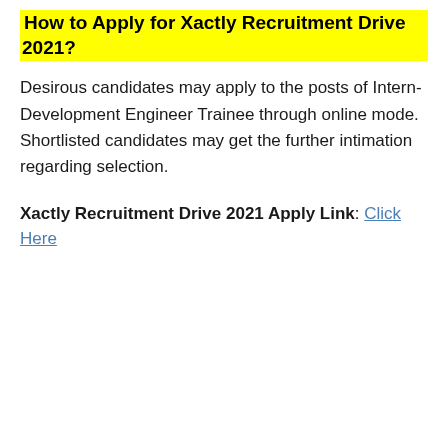How to Apply for Xactly Recruitment Drive 2021?
Desirous candidates may apply to the posts of Intern-Development Engineer Trainee through online mode. Shortlisted candidates may get the further intimation regarding selection.
Xactly Recruitment Drive 2021 Apply Link: Click Here